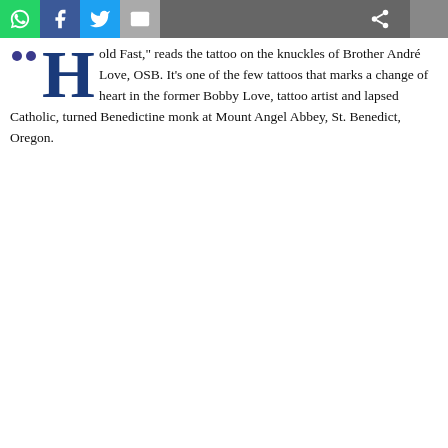[Figure (screenshot): Social media sharing toolbar with WhatsApp (green), Facebook (blue), Twitter (light blue), Email (grey) icons, and a share icon on dark grey background]
old Fast," reads the tattoo on the knuckles of Brother André Love, OSB. It's one of the few tattoos that marks a change of heart in the former Bobby Love, tattoo artist and lapsed Catholic, turned Benedictine monk at Mount Angel Abbey, St. Benedict, Oregon.